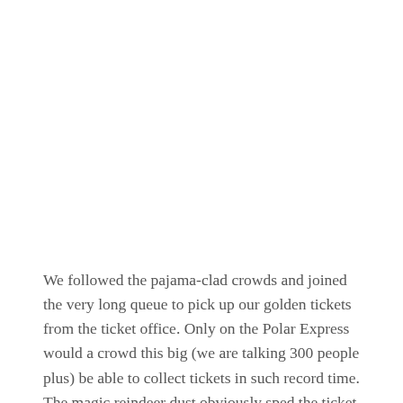We followed the pajama-clad crowds and joined the very long queue to pick up our golden tickets from the ticket office. Only on the Polar Express would a crowd this big (we are talking 300 people plus) be able to collect tickets in such record time. The magic reindeer dust obviously sped the ticket desk up because it no time at all we had our tickets in hand and were